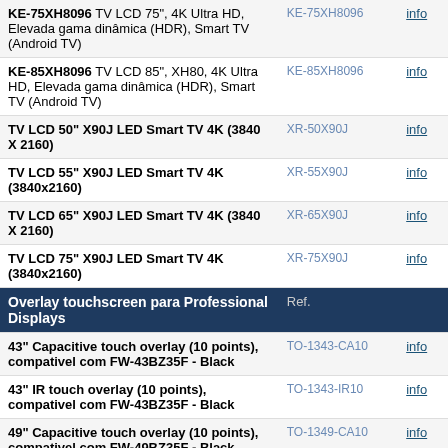| Description | Ref. |  |
| --- | --- | --- |
| KE-75XH8096 TV LCD 75", 4K Ultra HD, Elevada gama dinâmica (HDR), Smart TV (Android TV) | KE-75XH8096 | info |
| KE-85XH8096 TV LCD 85", XH80, 4K Ultra HD, Elevada gama dinâmica (HDR), Smart TV (Android TV) | KE-85XH8096 | info |
| TV LCD 50" X90J LED Smart TV 4K (3840 X 2160) | XR-50X90J | info |
| TV LCD 55" X90J LED Smart TV 4K (3840x2160) | XR-55X90J | info |
| TV LCD 65" X90J LED Smart TV 4K (3840 X 2160) | XR-65X90J | info |
| TV LCD 75" X90J LED Smart TV 4K (3840x2160) | XR-75X90J | info |
| Overlay touchscreen para Professional Displays | Ref. |  |
| 43" Capacitive touch overlay (10 points), compativel com FW-43BZ35F - Black | TO-1343-CA10 | info |
| 43" IR touch overlay (10 points), compativel com FW-43BZ35F - Black | TO-1343-IR10 | info |
| 49" Capacitive touch overlay (10 points), compativel com FW-49BZ35F - Black | TO-1349-CA10 | info |
| 49" IR touch overlay (10 points), compativel com FW-49BZ35F - Black | TO-1349-IR10 | info |
| 55" Capacitive touch overlay (10 points), compativel com FW-55BZ35F - | TO-1355-CA10 | info |